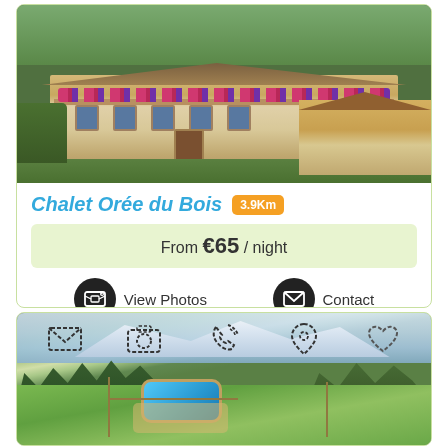[Figure (photo): Photo of Chalet Orée du Bois, an Alpine chalet building with flower-decorated balconies and greenery]
Chalet Orée du Bois 3.9Km
From €65 / night
View Photos
Contact
[Figure (photo): Aerial photo of a mountain chalet property with a swimming pool, sandy area, and snow-capped mountain backdrop, with action icon overlays (email, camera, phone, location, heart)]